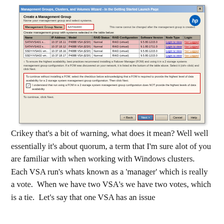[Figure (screenshot): HP Management Groups, Clusters, and Volumes Wizard screenshot showing a 'Create a Management Group' dialog with a table listing four VSA systems (SATA/VSA01, SATA/VSA02, SSDY/VSA01, SSDY/VSA02) with IP addresses, model P4088 VSA (ESX), Normal RAID status, RAID-virtual configuration, software version 9.5.80.1215.0 or 9.1.80.1711.0. Two systems are highlighted in red. A warning box with a checkbox is shown at the bottom. Next button is highlighted with red border.]
Crikey that's a bit of warning, what does it mean? Well well essentially it's about quorum, a term that I'm sure alot of you are familiar with when working with Windows clusters.  Each VSA run's whats known as a 'manager' which is really a vote.  When we have two VSA's we have two votes, which is a tie.  Let's say that one VSA has an issue